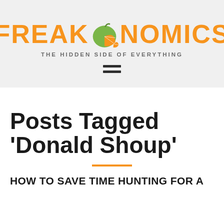[Figure (logo): Freakonomics logo with orange apple graphic between FREAK and NOMICS text]
THE HIDDEN SIDE OF EVERYTHING
[Figure (other): Hamburger menu icon — three horizontal dark bars]
Posts Tagged ‘Donald Shoup’
HOW TO SAVE TIME HUNTING FOR A